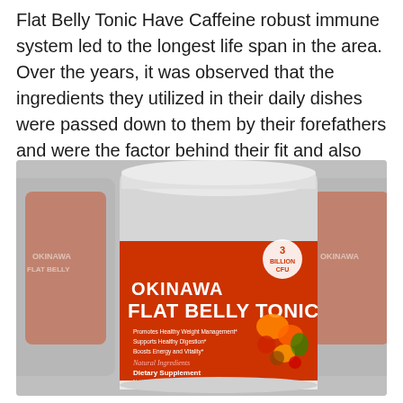Flat Belly Tonic Have Caffeine robust immune system led to the longest life span in the area. Over the years, it was observed that the ingredients they utilized in their daily dishes were passed down to them by their forefathers and were the factor behind their fit and also slim body.
[Figure (photo): Product photo of multiple Okinawa Flat Belly Tonic supplement containers. The main container in the foreground is a red-labeled white tub showing the brand name 'OKINAWA FLAT BELLY TONIC', with text reading 'Promotes Healthy Weight Management', 'Supports Healthy Digestion', 'Boosts Energy and Vitality', 'Natural Ingredients', 'Dietary Supplement'. A '3 Billion CFU' badge appears on the label. Fruit and spice imagery decorates the right side of the label. Background shows blurred duplicate containers.]